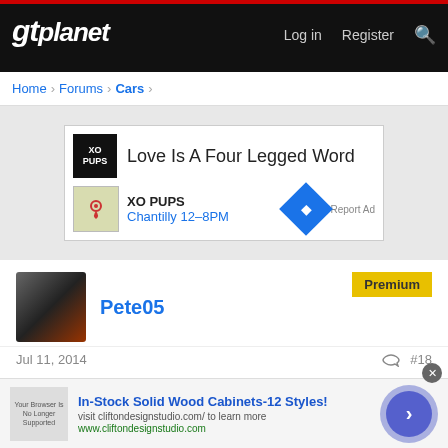gtplanet — Log in  Register
Home > Forums > Cars >
[Figure (screenshot): Advertisement banner for XO PUPS event. Shows logo, title 'Love Is A Four Legged Word', XO PUPS Chantilly 12-8PM with map icon and diamond button. Report Ad link.]
Pete05
Premium
Jul 11, 2014  #18
We had an ISO Rivolta racing here in historic racing during the late 1980's/early 1990's. A beautiful car with a great sound to go with it. Not sure what happened to it though. The owner/driver was Laurie Donaher of 'Sylvania Waters' fame.
[Figure (screenshot): Bottom advertisement: In-Stock Solid Wood Cabinets-12 Styles! visit cliftondesignstudio.com/ to learn more. www.cliftondesignstudio.com. Shows a browser screenshot thumbnail and purple circle with arrow.]